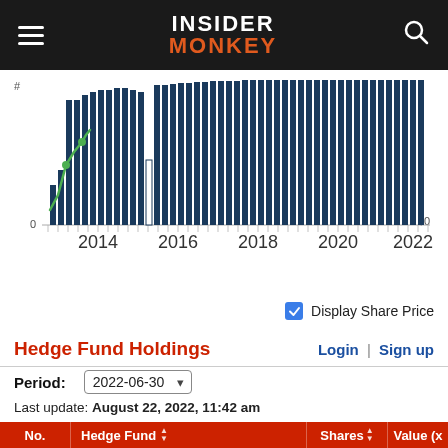INSIDER MONKEY
[Figure (bar-chart): Bar chart showing hedge fund holdings from 2013 to 2022, with bars in dark blue. A green line overlay shows share price trend. X-axis labels: 2014, 2016, 2018, 2020, 2022. Y-axis left shows count from 0, right shows $0.]
Display Share Price
Hedge Fund Holdings
Login | Sign up
Period: 2022-06-30
Last update: August 22, 2022, 11:42 am
| No. | Hedge Fund | Shares | Value (x |
| --- | --- | --- | --- |